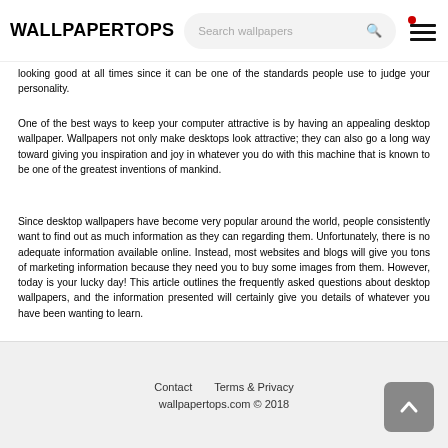WALLPAPERTOPS — Search wallpapers
looking good at all times since it can be one of the standards people use to judge your personality.
One of the best ways to keep your computer attractive is by having an appealing desktop wallpaper. Wallpapers not only make desktops look attractive; they can also go a long way toward giving you inspiration and joy in whatever you do with this machine that is known to be one of the greatest inventions of mankind.
Since desktop wallpapers have become very popular around the world, people consistently want to find out as much information as they can regarding them. Unfortunately, there is no adequate information available online. Instead, most websites and blogs will give you tons of marketing information because they need you to buy some images from them. However, today is your lucky day! This article outlines the frequently asked questions about desktop wallpapers, and the information presented will certainly give you details of whatever you have been wanting to learn.
Contact   Terms & Privacy
wallpapertops.com © 2018